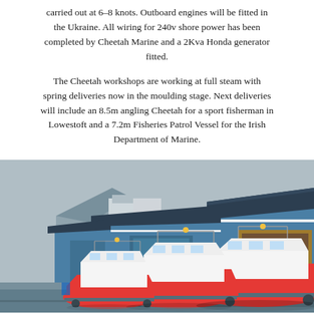carried out at 6–8 knots. Outboard engines will be fitted in the Ukraine. All wiring for 240v shore power has been completed by Cheetah Marine and a 2Kva Honda generator fitted.
The Cheetah workshops are working at full steam with spring deliveries now in the moulding stage. Next deliveries will include an 8.5m angling Cheetah for a sport fisherman in Lowestoft and a 7.2m Fisheries Patrol Vessel for the Irish Department of Marine.
[Figure (photo): Three red and white cabin boats parked on trailers outside blue-painted marine workshop buildings, with cliffs and buildings visible in the background.]